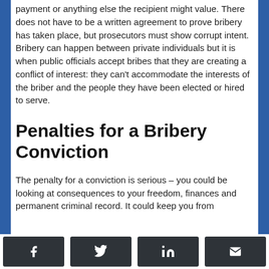payment or anything else the recipient might value. There does not have to be a written agreement to prove bribery has taken place, but prosecutors must show corrupt intent. Bribery can happen between private individuals but it is when public officials accept bribes that they are creating a conflict of interest: they can't accommodate the interests of the briber and the people they have been elected or hired to serve.
Penalties for a Bribery Conviction
The penalty for a conviction is serious – you could be looking at consequences to your freedom, finances and permanent criminal record. It could keep you from